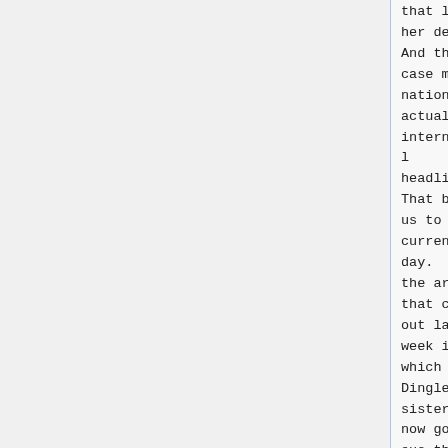that led to her death. And this case made national, actually, international headlines. That brings us to current day. And the article that came out last week in which Mrs Dingle's sister is now going to sue the
that led to her death. And this case made national, actually, international headlines. That brings us to current day. And the article that came out last week in which Mrs Dingle's sister is now going to sue the